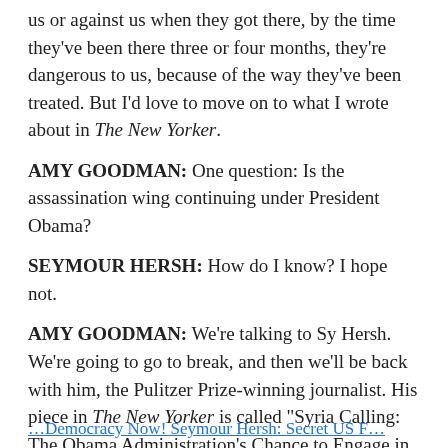us or against us when they got there, by the time they've been there three or four months, they're dangerous to us, because of the way they've been treated. But I'd love to move on to what I wrote about in The New Yorker.
AMY GOODMAN: One question: Is the assassination wing continuing under President Obama?
SEYMOUR HERSH: How do I know? I hope not.
AMY GOODMAN: We're talking to Sy Hersh. We're going to go to break, and then we'll be back with him, the Pulitzer Prize-winning journalist. His piece in The New Yorker is called "Syria Calling: The Obama Administration's Chance to Engage in a Middle East Peace." Stay with us.
…Democracy Now! Seymour Hersh: Secret US Forces…